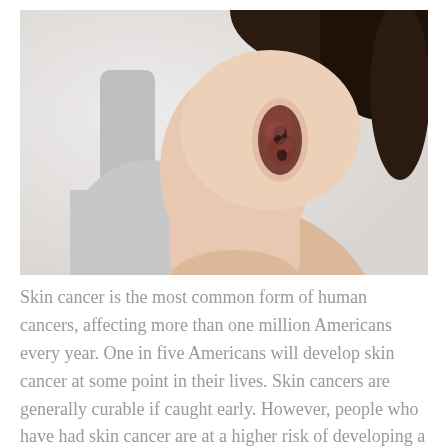[Figure (photo): Photo of a person's shoulder showing a skin lesion/wound, person wearing a gray sleeveless top with dark hair visible]
Skin cancer is the most common form of human cancers, affecting more than one million Americans every year. One in five Americans will develop skin cancer at some point in their lives. Skin cancers are generally curable if caught early. However, people who have had skin cancer are at a higher risk of developing a new skin cancer,